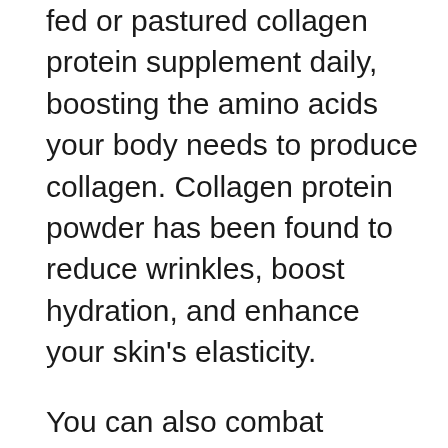fed or pastured collagen protein supplement daily, boosting the amino acids your body needs to produce collagen. Collagen protein powder has been found to reduce wrinkles, boost hydration, and enhance your skin's elasticity.
You can also combat wrinkles by incorporating foods high in antioxidants and polyphenols – a kind of compound found in plants – into your diet, things like vegetables, dark chocolate, and coffee. There's even a specific kind of antioxidant that can target graying hair. Insufficient levels of an antioxidant called catalase cause a buildup of the chemical compound hydrogen peroxide, which in turn damages the cells that produce melanin – the pigment that gives your hair and skin their color